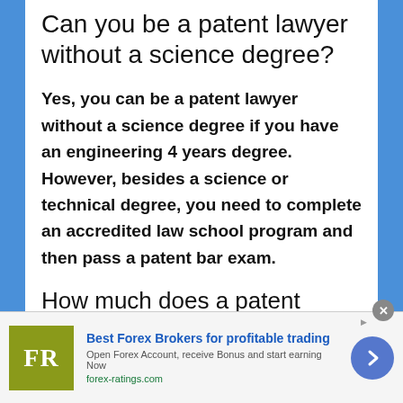Can you be a patent lawyer without a science degree?
Yes, you can be a patent lawyer without a science degree if you have an engineering 4 years degree. However, besides a science or technical degree, you need to complete an accredited law school program and then pass a patent bar exam.
How much does a patent attorney charge?
[Figure (other): Advertisement banner: FR logo (olive/green square with white FR text), headline 'Best Forex Brokers for profitable trading', subtext 'Open Forex Account, receive Bonus and start earning Now', URL 'forex-ratings.com', blue circular arrow button on right, close X button top right]